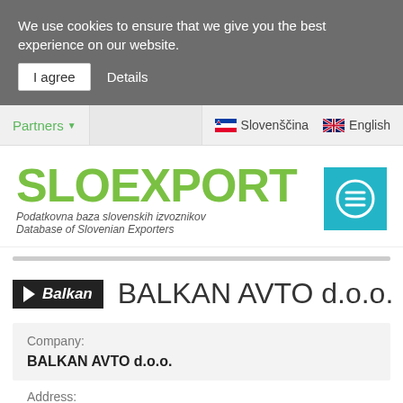We use cookies to ensure that we give you the best experience on our website.
I agree   Details
Partners  Slovenščina  English
[Figure (logo): SLOEXPORT logo with green text and tagline 'Podatkovna baza slovenskih izvoznikov / Database of Slovenian Exporters']
[Figure (logo): Balkan Avto d.o.o. company logo and name header]
| Company: |
| --- |
| BALKAN AVTO d.o.o. |
Address: